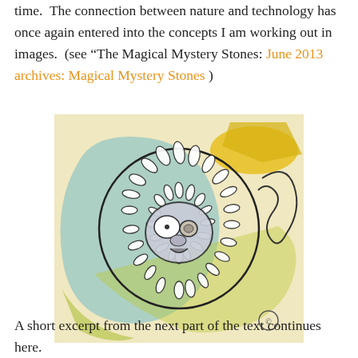time.  The connection between nature and technology has once again entered into the concepts I am working out in images.  (see “The Magical Mystery Stones: June 2013 archives: Magical Mystery Stones )
[Figure (illustration): Mixed media artwork showing a circular, owl-like or bird-like face surrounded by feather/leaf patterns, rendered in black line drawing over a colorful background of yellow, blue, and green hues.]
A short excerpt from the next part of the text continues here.